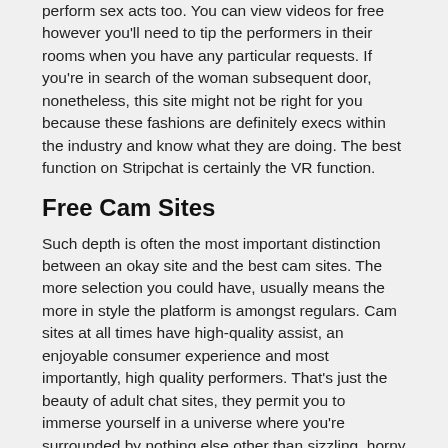perform sex acts too. You can view videos for free however you'll need to tip the performers in their rooms when you have any particular requests. If you're in search of the woman subsequent door, nonetheless, this site might not be right for you because these fashions are definitely execs within the industry and know what they are doing. The best function on Stripchat is certainly the VR function.
Free Cam Sites
Such depth is often the most important distinction between an okay site and the best cam sites. The more selection you could have, usually means the more in style the platform is amongst regulars. Cam sites at all times have high-quality assist, an enjoyable consumer experience and most importantly, high quality performers. That's just the beauty of adult chat sites, they permit you to immerse yourself in a universe where you're surrounded by nothing else other than sizzling, horny chicks.
Sexier is a 2-way video chat site that has been providing low-cost live adult entertainment for greater than two decades. If you need veteran beauties who know all the best strikes or amateurs